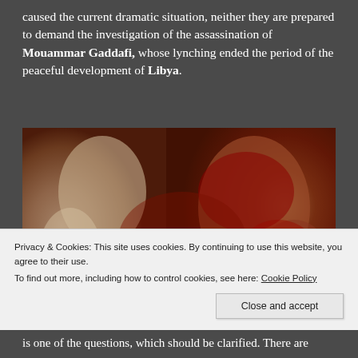caused the current dramatic situation, neither they are prepared to demand the investigation of the assassination of Mouammar Gaddafi, whose lynching ended the period of the peaceful development of Libya.
[Figure (photo): A graphic photograph showing Mouammar Gaddafi covered in blood, being held by people around him. The image is dark and disturbing, showing the final moments before his death.]
Privacy & Cookies: This site uses cookies. By continuing to use this website, you agree to their use.
To find out more, including how to control cookies, see here: Cookie Policy
is one of the questions, which should be clarified. There are